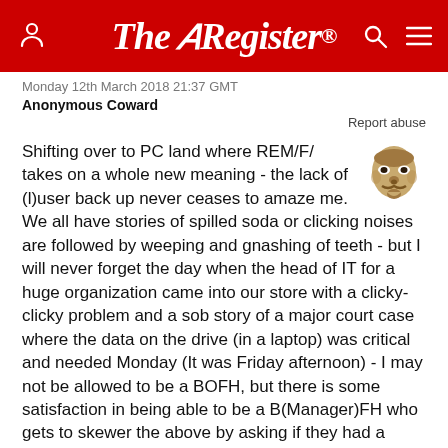The Register
Monday 12th March 2018 21:37 GMT
Anonymous Coward
Report abuse
[Figure (illustration): Guy Fawkes / Anonymous mask icon in gold/beige tones, floated to the right of the comment text]
Shifting over to PC land where REM/F/ takes on a whole new meaning - the lack of (l)user back up never ceases to amaze me. We all have stories of spilled soda or clicking noises are followed by weeping and gnashing of teeth - but I will never forget the day when the head of IT for a huge organization came into our store with a clicky-clicky problem and a sob story of a major court case where the data on the drive (in a laptop) was critical and needed Monday (It was Friday afternoon) - I may not be allowed to be a BOFH, but there is some satisfaction in being able to be a B(Manager)FH who gets to skewer the above by asking if they had a backup of the data, knowing full well that I was looking at a person mentally getting his CV in order and planning on changing his name and relocating immediately to another state.